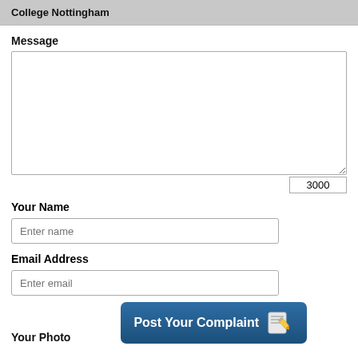College Nottingham
Message
3000
Your Name
Enter name
Email Address
Enter email
Your Photo
[Figure (screenshot): Post Your Complaint button with pencil/notepad icon]